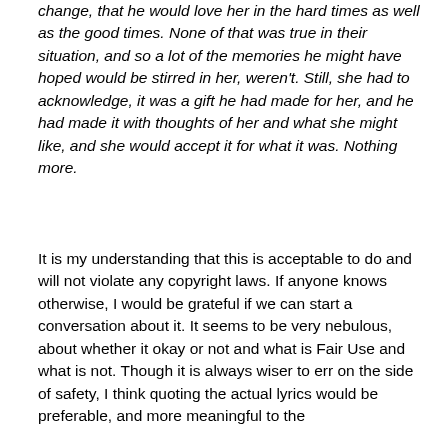change, that he would love her in the hard times as well as the good times. None of that was true in their situation, and so a lot of the memories he might have hoped would be stirred in her, weren't. Still, she had to acknowledge, it was a gift he had made for her, and he had made it with thoughts of her and what she might like, and she would accept it for what it was. Nothing more.
It is my understanding that this is acceptable to do and will not violate any copyright laws. If anyone knows otherwise, I would be grateful if we can start a conversation about it. It seems to be very nebulous, about whether it okay or not and what is Fair Use and what is not. Though it is always wiser to err on the side of safety, I think quoting the actual lyrics would be preferable, and more meaningful to the